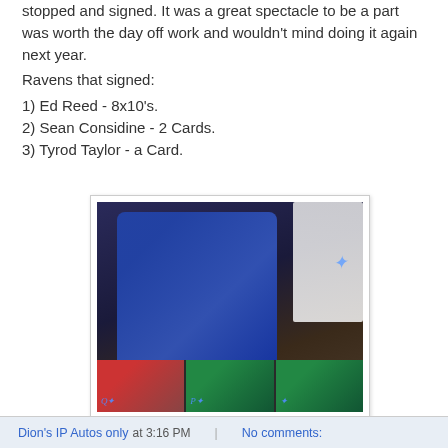stopped and signed. It was a great spectacle to be a part was worth the day off work and wouldn't mind doing it again next year.
Ravens that signed:
1) Ed Reed - 8x10's.
2) Sean Considine - 2 Cards.
3) Tyrod Taylor - a Card.
[Figure (photo): A photo showing a Baltimore Ravens player in blue jersey along with signed trading cards at the bottom]
Dion's IP Autos only at 3:16 PM    No comments: